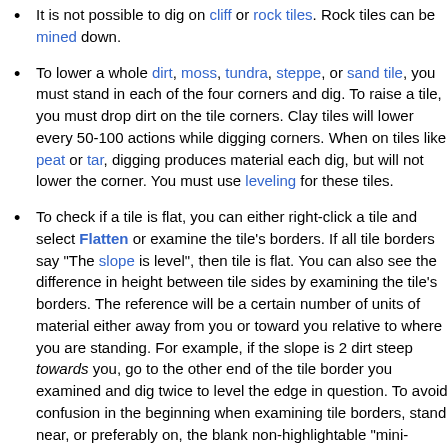It is not possible to dig on cliff or rock tiles. Rock tiles can be mined down.
To lower a whole dirt, moss, tundra, steppe, or sand tile, you must stand in each of the four corners and dig. To raise a tile, you must drop dirt on the tile corners. Clay tiles will lower every 50-100 actions while digging corners. When on tiles like peat or tar, digging produces material each dig, but will not lower the corner. You must use leveling for these tiles.
To check if a tile is flat, you can either right-click a tile and select Flatten or examine the tile's borders. If all tile borders say "The slope is level", then tile is flat. You can also see the difference in height between tile sides by examining the tile's borders. The reference will be a certain number of units of material either away from you or toward you relative to where you are standing. For example, if the slope is 2 dirt steep towards you, go to the other end of the tile border you examined and dig twice to level the edge in question. To avoid confusion in the beginning when examining tile borders, stand near, or preferably on, the blank non-highlightable "mini-